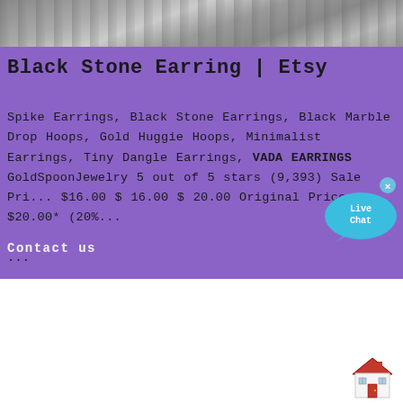[Figure (photo): Photo strip at top showing black stone/marble material with jewelry]
Black Stone Earring | Etsy
Spike Earrings, Black Stone Earrings, Black Marble Drop Hoops, Gold Huggie Hoops, Minimalist Earrings, Tiny Dangle Earrings, VADA EARRINGS GoldSpoonJewelry 5 out of 5 stars (9,393) Sale Pri... $16.00 $ 16.00 $ 20.00 Original Price $20.00* (20%...
...
Contact us
[Figure (illustration): Live Chat speech bubble icon in cyan/blue]
[Figure (illustration): House/home icon in bottom right corner]